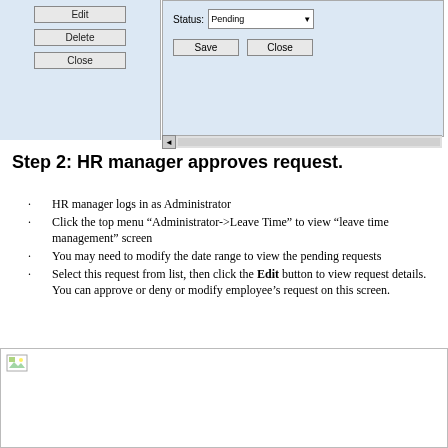[Figure (screenshot): Top portion of a software UI screenshot showing two panels: a left panel with Edit, Delete, Close buttons on a light blue background, and a right panel showing a Status dropdown set to 'Pending' with Save and Close buttons, plus a scrollbar at the bottom.]
Step 2: HR manager approves request.
HR manager logs in as Administrator
Click the top menu “Administrator->Leave Time” to view “leave time management” screen
You may need to modify the date range to view the pending requests
Select this request from list, then click the Edit button to view request details. You can approve or deny or modify employee’s request on this screen.
[Figure (screenshot): Bottom screenshot area showing a software UI screen, partially visible with a small image icon in the top-left corner.]